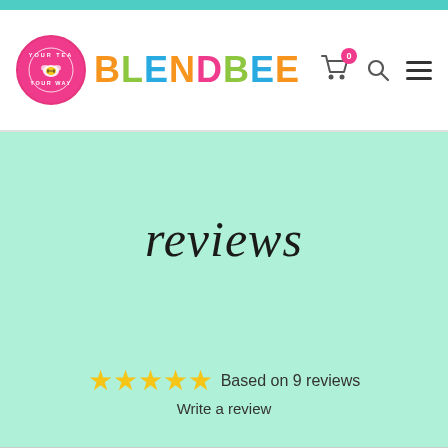[Figure (logo): BlendBee logo with circular badge and colorful brand name text, cart icon with 0 badge, search icon, hamburger menu icon]
reviews
Based on 9 reviews
Write a review